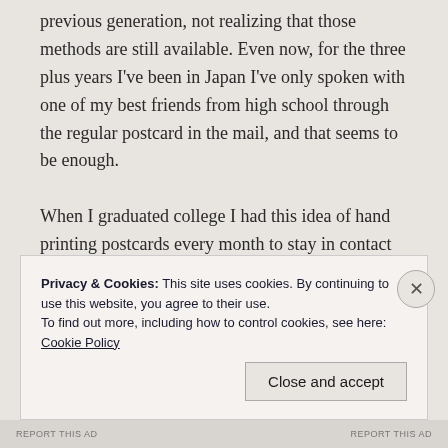previous generation, not realizing that those methods are still available. Even now, for the three plus years I've been in Japan I've only spoken with one of my best friends from high school through the regular postcard in the mail, and that seems to be enough.

When I graduated college I had this idea of hand printing postcards every month to stay in contact with those I left by going to New York. I made it to August before the dedication faded. As a poor
Privacy & Cookies: This site uses cookies. By continuing to use this website, you agree to their use.
To find out more, including how to control cookies, see here: Cookie Policy
REPORT THIS AD